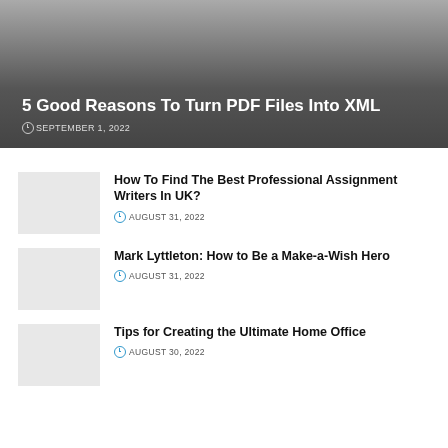5 Good Reasons To Turn PDF Files Into XML
SEPTEMBER 1, 2022
How To Find The Best Professional Assignment Writers In UK?
AUGUST 31, 2022
Mark Lyttleton: How to Be a Make-a-Wish Hero
AUGUST 31, 2022
Tips for Creating the Ultimate Home Office
AUGUST 30, 2022